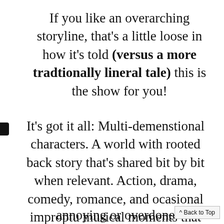If you like an overarching storyline, that's a little loose in how it's told (versus a more tradtionally lineral tale) this is the show for you!
It's got it all: Multi-demenstional characters. A world with rooted back story that's shared bit by bit when relevant. Action, drama, comedy, romance, and ocasional improptu musical moments that don't feel either annoying or overdone